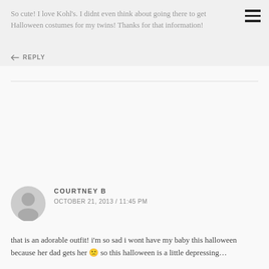So cute! I love Kohl's. I didnt even think about going there to get Halloween costumes for my twins! Thanks for that information!
↩ REPLY
COURTNEY B
OCTOBER 21, 2013 / 11:45 PM
that is an adorable outfit! i'm so sad i wont have my baby this halloween because her dad gets her 🙁 so this halloween is a little depressing…